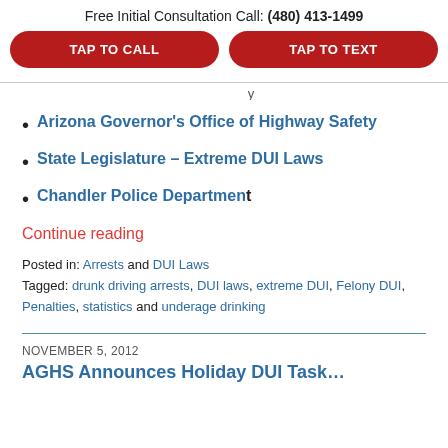Free Initial Consultation Call: (480) 413-1499
TAP TO CALL | TAP TO TEXT
Arizona Governor's Office of Highway Safety
State Legislature – Extreme DUI Laws
Chandler Police Department
Continue reading
Posted in: Arrests and DUI Laws
Tagged: drunk driving arrests, DUI laws, extreme DUI, Felony DUI, Penalties, statistics and underage drinking
NOVEMBER 5, 2012